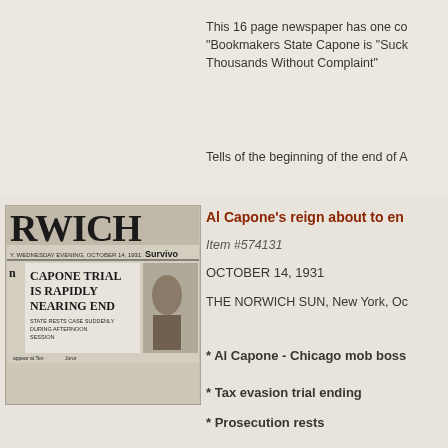This 16 page newspaper has one co "Bookmakers State Capone is "Suck Thousands Without Complaint"
Tells of the beginning of the end of A
[Figure (photo): Black and white photograph of The Norwich Sun newspaper front page dated Wednesday Evening, October 14, 1931, with headline 'CAPONE TRIAL IS RAPIDLY NEARING END' and subhead 'STATE RESTS CASE SUDDENLY DURING AFTERNOON SESSION']
Al Capone's reign about to en
Item #574131
OCTOBER 14, 1931
THE NORWICH SUN, New York, Oc
* Al Capone - Chicago mob boss
* Tax evasion trial ending
* Prosecution rests